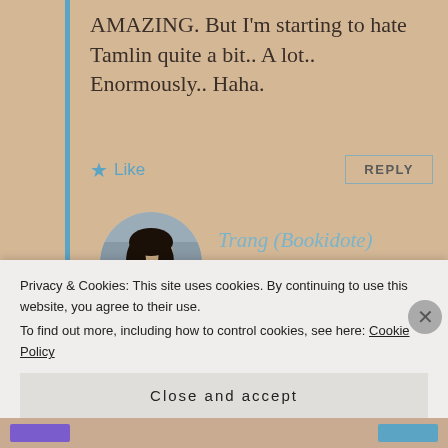AMAZING. But I'm starting to hate Tamlin quite a bit.. A lot.. Enormously.. Haha.
★ Like   REPLY
[Figure (photo): Circular avatar photo of Trang (Bookidote), a young woman with long dark hair wearing a tan/beige jacket, photographed outdoors.]
Trang (Bookidote)
JULY 30, 2017 AT 3:59 PM
Omfg really ? :O I have to read ACOMAF for myself then heard a lot of good stuff about it. AND LOL I gave up
Privacy & Cookies: This site uses cookies. By continuing to use this website, you agree to their use.
To find out more, including how to control cookies, see here: Cookie Policy
Close and accept